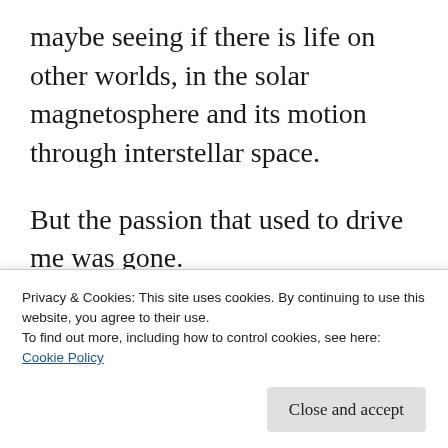maybe seeing if there is life on other worlds, in the solar magnetosphere and its motion through interstellar space.
But the passion that used to drive me was gone.
That’s where NASA (and their political masters) dropped the ball, IMO.  While I have nothing against the folk doing Space Science, I really think most of whatever budget they had should have been doing toward “access to
Privacy & Cookies: This site uses cookies. By continuing to use this website, you agree to their use.
To find out more, including how to control cookies, see here:
Cookie Policy
to bring, and presented as bringing, us closer